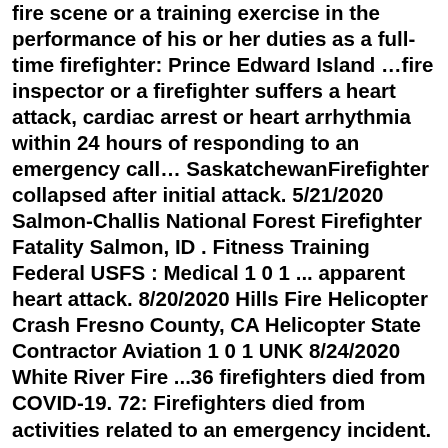fire scene or a training exercise in the performance of his or her duties as a full-time firefighter: Prince Edward Island …fire inspector or a firefighter suffers a heart attack, cardiac arrest or heart arrhythmia within 24 hours of responding to an emergency call… SaskatchewanFirefighter collapsed after initial attack. 5/21/2020 Salmon-Challis National Forest Firefighter Fatality Salmon, ID . Fitness Training Federal USFS : Medical 1 0 1 ... apparent heart attack. 8/20/2020 Hills Fire Helicopter Crash Fresno County, CA Helicopter State Contractor Aviation 1 0 1 UNK 8/24/2020 White River Fire ...36 firefighters died from COVID-19. 72: Firefighters died from activities related to an emergency incident. 29: Firefighters died from heart attacks. 26: Firefighters died from activities at a fire scene. 25: Firefighters died from activities at a non-fire scene. 14: Firefighters died while responding to or returning from emergency incidents. 7 Unfortunately, over 50% of these LODDs were attributed to heart attacks, strokes, and other medical causes. Firefighter